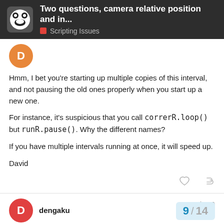Two questions, camera relative position and in... | Scripting Issues
Hmm, I bet you're starting up multiple copies of this interval, and not pausing the old ones properly when you start up a new one.

For instance, it's suspicious that you call correrR.loop() but runR.pause(). Why the different names?

If you have multiple intervals running at once, it will speed up.

David
dengaku
Feb '09
The multiple names is not the error, b...